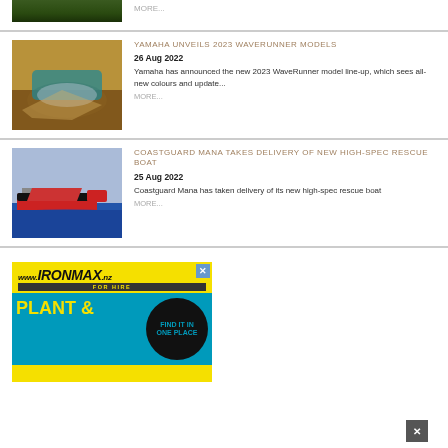[Figure (photo): Partial image of nature/greenery at top of page]
MORE...
[Figure (photo): Yamaha WaveRunner jet ski splashing through water]
YAMAHA UNVEILS 2023 WAVERUNNER MODELS
26 Aug 2022
Yamaha has announced the new 2023 WaveRunner model line-up, which sees all-new colours and update...
MORE...
[Figure (photo): Coastguard Mana rescue boat on water]
COASTGUARD MANA TAKES DELIVERY OF NEW HIGH-SPEC RESCUE BOAT
25 Aug 2022
Coastguard Mana has taken delivery of its new high-spec rescue boat
MORE...
[Figure (other): Advertisement banner for www.IRONMAX.nz FOR HIRE - PLANT & one place]